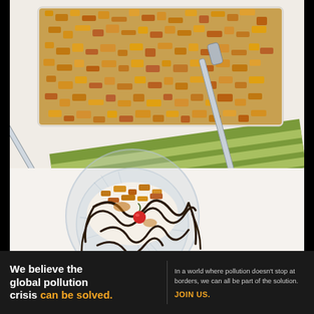[Figure (photo): Overhead food photo showing a baking dish with crumble topping, a spoon, a green striped cloth, and a crystal glass dessert bowl with ice cream or whipped cream topped with chocolate sauce drizzle, caramel, crushed nuts, and a maraschino cherry.]
[Figure (infographic): Pure Earth advertisement banner with dark background. Left section: bold white text 'We believe the global pollution crisis can be solved.' with 'can be solved.' in orange. Middle section: smaller white text 'In a world where pollution doesn't stop at borders, we can all be part of the solution.' with 'JOIN US.' in orange bold. Right section: Pure Earth logo with diamond/arrow icon in yellow-green and white text 'PURE EARTH'.]